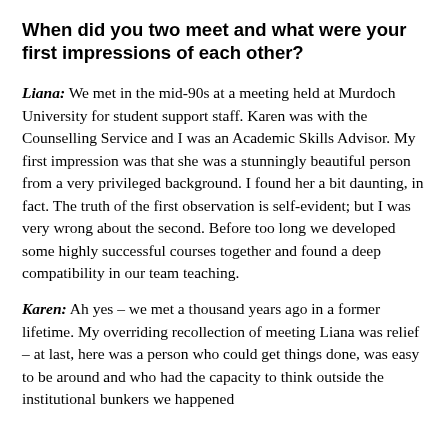When did you two meet and what were your first impressions of each other?
Liana: We met in the mid-90s at a meeting held at Murdoch University for student support staff. Karen was with the Counselling Service and I was an Academic Skills Advisor. My first impression was that she was a stunningly beautiful person from a very privileged background. I found her a bit daunting, in fact. The truth of the first observation is self-evident; but I was very wrong about the second. Before too long we developed some highly successful courses together and found a deep compatibility in our team teaching.
Karen: Ah yes – we met a thousand years ago in a former lifetime. My overriding recollection of meeting Liana was relief – at last, here was a person who could get things done, was easy to be around and who had the capacity to think outside the institutional bunkers we happened